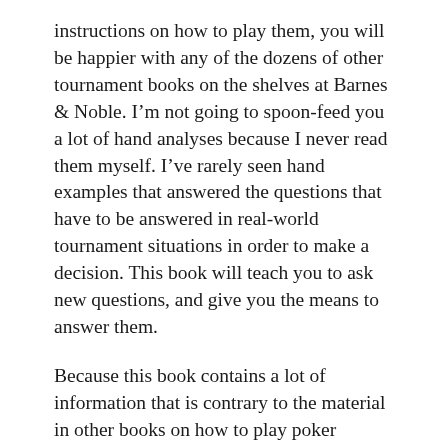instructions on how to play them, you will be happier with any of the dozens of other tournament books on the shelves at Barnes & Noble. I'm not going to spoon-feed you a lot of hand analyses because I never read them myself. I've rarely seen hand examples that answered the questions that have to be answered in real-world tournament situations in order to make a decision. This book will teach you to ask new questions, and give you the means to answer them.
Because this book contains a lot of information that is contrary to the material in other books on how to play poker tournaments, I'm sure many players who have read all the books will disagree with what is revealed within these pages. How can everybody else be wrong? Some noted “authorities” on the game will attempt to refute my findings, just as they tried with The Poker Tournament Formula, and since